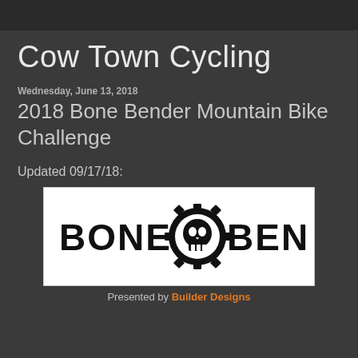Cow Town Cycling
Wednesday, June 13, 2018
2018 Bone Bender Mountain Bike Challenge
Updated 09/17/18:
[Figure (logo): Bone Bender logo: black text 'BONE BENDER' with a skull inside a gear/sprocket in the center, on white background]
Presented by Builder Designs